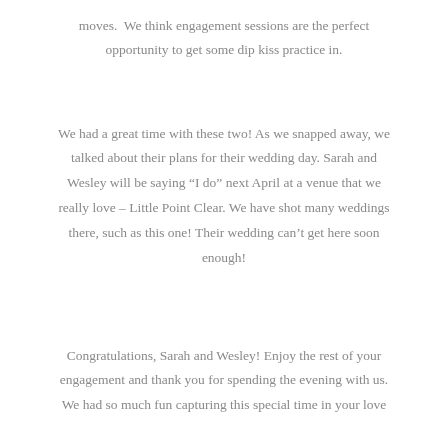moves. We think engagement sessions are the perfect opportunity to get some dip kiss practice in.
We had a great time with these two! As we snapped away, we talked about their plans for their wedding day. Sarah and Wesley will be saying “I do” next April at a venue that we really love – Little Point Clear. We have shot many weddings there, such as this one! Their wedding can’t get here soon enough!
Congratulations, Sarah and Wesley! Enjoy the rest of your engagement and thank you for spending the evening with us. We had so much fun capturing this special time in your love